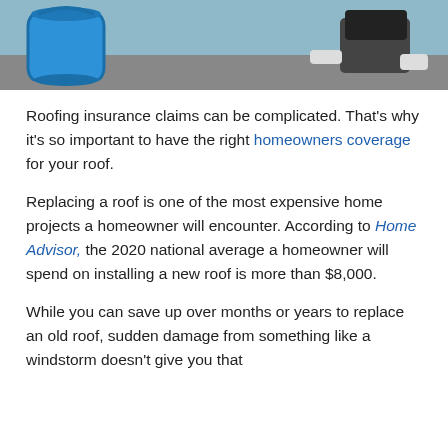[Figure (photo): Top portion of a photo showing a blue bucket and a person kneeling on the floor, likely dealing with a roof leak or water damage indoors.]
Roofing insurance claims can be complicated. That's why it's so important to have the right homeowners coverage for your roof.
Replacing a roof is one of the most expensive home projects a homeowner will encounter. According to Home Advisor, the 2020 national average a homeowner will spend on installing a new roof is more than $8,000.
While you can save up over months or years to replace an old roof, sudden damage from something like a windstorm doesn't give you that option. Roofing insurance claims can help homeowners